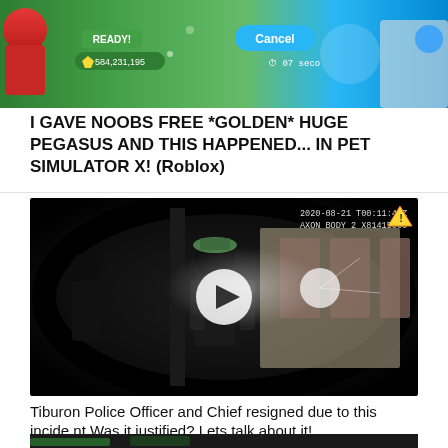[Figure (screenshot): Screenshot of Roblox Pet Simulator X game showing READY! button, 584,231,195 coins, Cancel button, and 07 second timer]
I GAVE NOOBS FREE *GOLDEN* HUGE PEGASUS AND THIS HAPPENED... IN PET SIMULATOR X! (Roblox)
[Figure (screenshot): Body camera footage screenshot with timestamp 2020-08-21 T00:11:40Z, AXON BODY 2 X81415000, showing dark scene of figures near glass doors with play button overlay]
Tiburon Police Officer and Chief resigned due to this incident Was it justified? Lets talk about it!
[Figure (screenshot): Partial thumbnail visible at bottom of page showing dark outdoor scene]